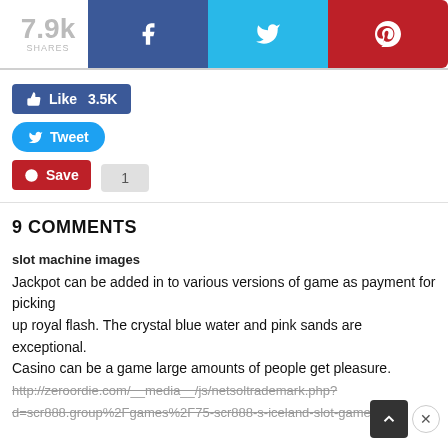[Figure (infographic): Social share bar with 7.9k shares count and Facebook, Twitter, Pinterest buttons]
[Figure (infographic): Like 3.5K button (Facebook), Tweet button (Twitter), Save 1 button (Pinterest)]
9 COMMENTS
slot machine images
Jackpot can be added in to various versions of game as payment for picking
up royal flash. The crystal blue water and pink sands are exceptional.
Casino can be a game large amounts of people get pleasure.
http://zeroordie.com/__media__/js/netsoltrademark.php?d=scr888.group%2Fgames%2F75-scr888-s-iceland-slot-game